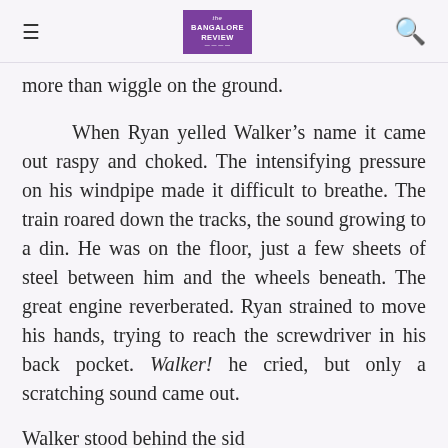the Bangalore Review
more than wiggle on the ground.
When Ryan yelled Walker’s name it came out raspy and choked. The intensifying pressure on his windpipe made it difficult to breathe. The train roared down the tracks, the sound growing to a din. He was on the floor, just a few sheets of steel between him and the wheels beneath. The great engine reverberated. Ryan strained to move his hands, trying to reach the screwdriver in his back pocket. Walker! he cried, but only a scratching sound came out.
Walker stood behind the sid